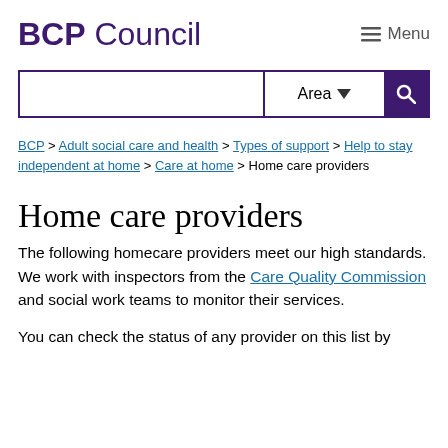BCP Council   Menu
Area [search bar with area dropdown]
BCP > Adult social care and health > Types of support > Help to stay independent at home > Care at home > Home care providers
Home care providers
The following homecare providers meet our high standards. We work with inspectors from the Care Quality Commission and social work teams to monitor their services.
You can check the status of any provider on this list by